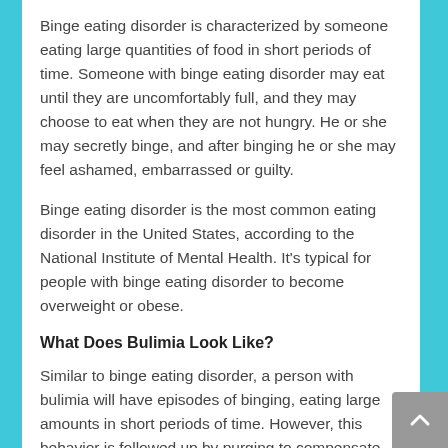Binge eating disorder is characterized by someone eating large quantities of food in short periods of time. Someone with binge eating disorder may eat until they are uncomfortably full, and they may choose to eat when they are not hungry. He or she may secretly binge, and after binging he or she may feel ashamed, embarrassed or guilty.
Binge eating disorder is the most common eating disorder in the United States, according to the National Institute of Mental Health. It's typical for people with binge eating disorder to become overweight or obese.
What Does Bulimia Look Like?
Similar to binge eating disorder, a person with bulimia will have episodes of binging, eating large amounts in short periods of time. However, this behavior is followed up by purging to compensate for the binge. This behavior may involve, overexercising, forced vomiting, laxative usage or